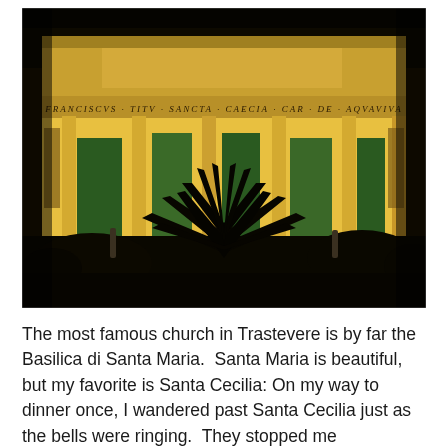[Figure (photo): Nighttime photograph of the Basilica di Santa Cecilia in Trastevere, Rome. The building is illuminated with warm golden/yellow light showing a classical facade with columns and a portico. Latin inscription reads: FRANCISCVS TITV SANCTA CAECIA CAR DE AQVAVIVA. A large dark palm or agave plant is visible in the foreground.]
The most famous church in Trastevere is by far the Basilica di Santa Maria.  Santa Maria is beautiful, but my favorite is Santa Cecilia: On my way to dinner once, I wandered past Santa Cecilia just as the bells were ringing.  They stopped me